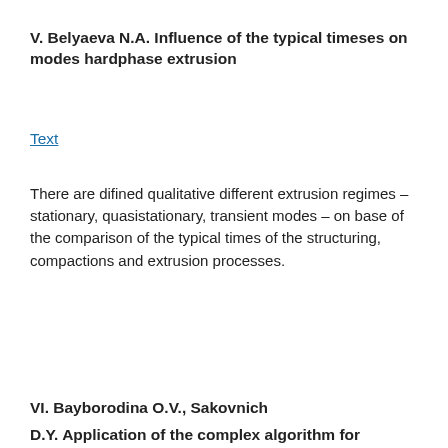V. Belyaeva N.A. Influence of the typical timeses on modes hardphase extrusion
Text
There are difined qualitative different extrusion regimes – stationary, quasistationary, transient modes – on base of the comparison of the typical times of the structuring, compactions and extrusion processes.
VI. Bayborodina O.V., Sakovnich D.Y. Application of the complex algorithm for